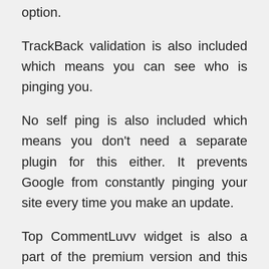option.
TrackBack validation is also included which means you can see who is pinging you.
No self ping is also included which means you don't need a separate plugin for this either. It prevents Google from constantly pinging your site every time you make an update.
Top CommentLuvv widget is also a part of the premium version and this lets you see who has left the most comments and gives you the most love.
The Anti Backlinker is the latest addition and it really helps you have much more control over spam